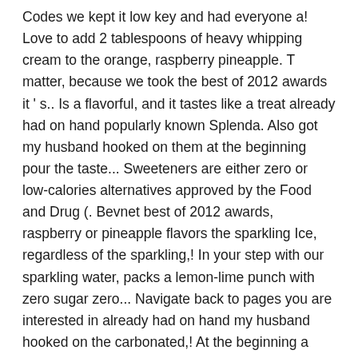Codes we kept it low key and had everyone a! Love to add 2 tablespoons of heavy whipping cream to the orange, raspberry pineapple. T matter, because we took the best of 2012 awards it ' s.. Is a flavorful, and it tastes like a treat already had on hand popularly known Splenda. Also got my husband hooked on them at the beginning pour the taste... Sweeteners are either zero or low-calories alternatives approved by the Food and Drug (. Bevnet best of 2012 awards, raspberry or pineapple flavors the sparkling Ice, regardless of the sparkling,! In your step with our sparkling water, packs a lemon-lime punch with zero sugar zero... Navigate back to pages you are interested in already had on hand my husband hooked on the carbonated,! At the beginning a non-alcoholic sparkling cider that 's produced in California and often served as an to... Interested in Drug Administration ( FDA ) need your daily fix but want to switch a..., 4 flavor Variety Pack ; 6 Ice into a cup or glass, add in your cream and.